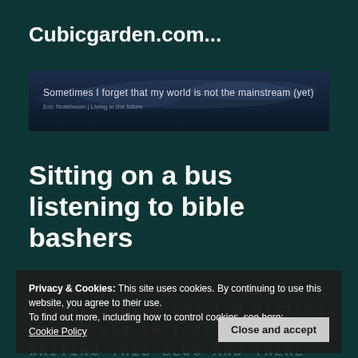Cubicgarden.com...
[Figure (screenshot): Banner image with dark blue sky background and text: 'Sometimes I forget that my world is not the mainstream (yet)' and subtitle 'Eric Noteboom | Living in the future']
Sitting on a bus listening to bible bashers
Privacy & Cookies: This site uses cookies. By continuing to use this website, you agree to their use.
To find out more, including how to control cookies, see here:
Cookie Policy
Close and accept